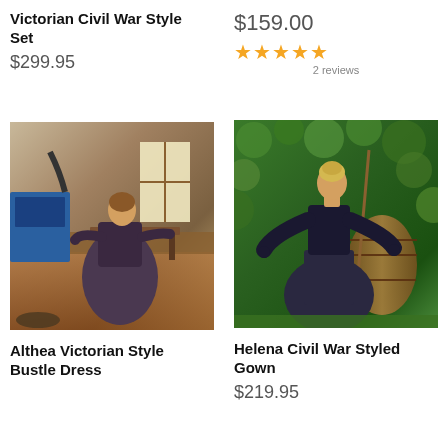Victorian Civil War Style Set
$299.95
$159.00
★★★★★ 2 reviews
[Figure (photo): Woman in Victorian dark bustle dress leaning over a table in a historic kitchen setting with a wood stove]
[Figure (photo): Woman in Helena Civil War black styled gown standing outdoors in front of ivy-covered wall]
Althea Victorian Style Bustle Dress
$219.95
Helena Civil War Styled Gown
$219.95